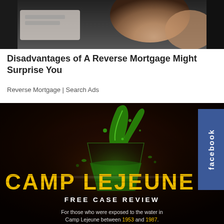[Figure (photo): Partial photo of an elderly person, cropped at top of page, showing skin tones and clothing]
Disadvantages of A Reverse Mortgage Might Surprise You
Reverse Mortgage | Search Ads
[Figure (illustration): Camp Lejeune advertisement with dark background, green liquid splashing into glass, yellow distressed text reading 'CAMP LEJEUNE', white text 'FREE CASE REVIEW', and footer text 'For those who were exposed to the water in Camp Lejeune between 1953 and 1987.' Facebook tab visible on right side.]